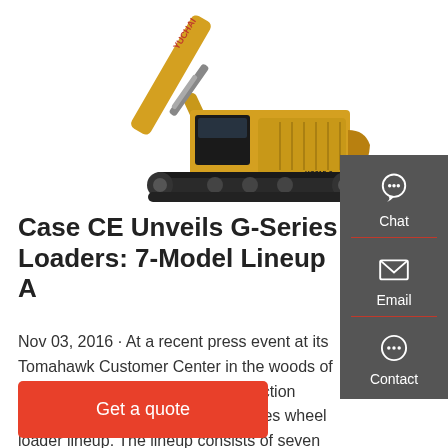[Figure (photo): Yellow Yuchai excavator (model YC215-8) on white background, showing full side profile with boom arm and bucket raised]
Case CE Unveils G-Series Loaders: 7-Model Lineup A
Nov 03, 2016 · At a recent press event at its Tomahawk Customer Center in the woods of northern Wisconsin, Case Construction Equipment unveiled its new G-Series wheel loader lineup. The lineup consists of seven
Get a quote